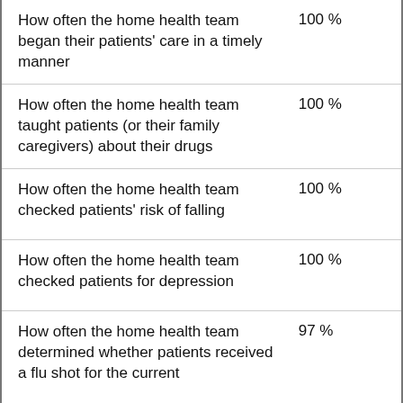| Measure | Value |
| --- | --- |
| How often the home health team began their patients' care in a timely manner | 100 % |
| How often the home health team taught patients (or their family caregivers) about their drugs | 100 % |
| How often the home health team checked patients' risk of falling | 100 % |
| How often the home health team checked patients for depression | 100 % |
| How often the home health team determined whether patients received a flu shot for the current | 97 % |